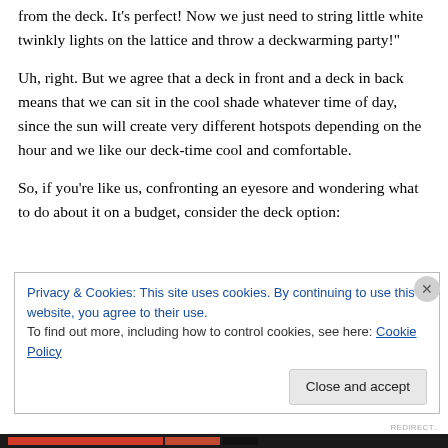from the deck. It's perfect! Now we just need to string little white twinkly lights on the lattice and throw a deckwarming party!"
Uh, right. But we agree that a deck in front and a deck in back means that we can sit in the cool shade whatever time of day, since the sun will create very different hotspots depending on the hour and we like our deck-time cool and comfortable.
So, if you're like us, confronting an eyesore and wondering what to do about it on a budget, consider the deck option:
Privacy & Cookies: This site uses cookies. By continuing to use this website, you agree to their use.
To find out more, including how to control cookies, see here: Cookie Policy
Close and accept